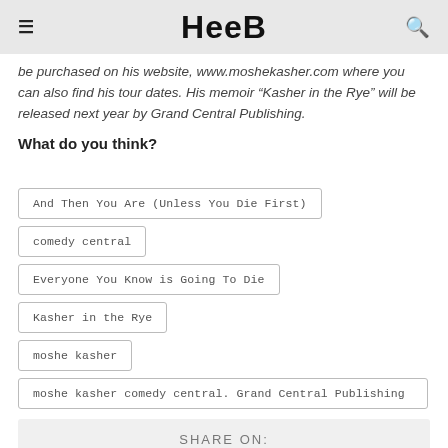HeeB
be purchased on his website, www.moshekasher.com where you can also find his tour dates. His memoir “Kasher in the Rye” will be released next year by Grand Central Publishing.
What do you think?
And Then You Are (Unless You Die First)
comedy central
Everyone You Know is Going To Die
Kasher in the Rye
moshe kasher
moshe kasher comedy central. Grand Central Publishing
SHARE ON: